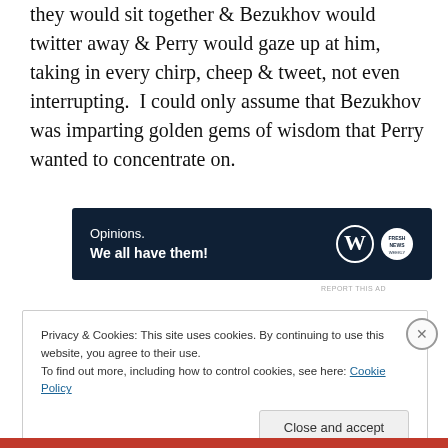they would sit together & Bezukhov would twitter away & Perry would gaze up at him, taking in every chirp, cheep & tweet, not even interrupting.  I could only assume that Bezukhov was imparting golden gems of wisdom that Perry wanted to concentrate on.
[Figure (other): Dark navy advertisement banner reading 'Opinions. We all have them!' with WordPress and Fresh News logos on the right side.]
REPORT THIS AD
Privacy & Cookies: This site uses cookies. By continuing to use this website, you agree to their use.
To find out more, including how to control cookies, see here: Cookie Policy
Close and accept